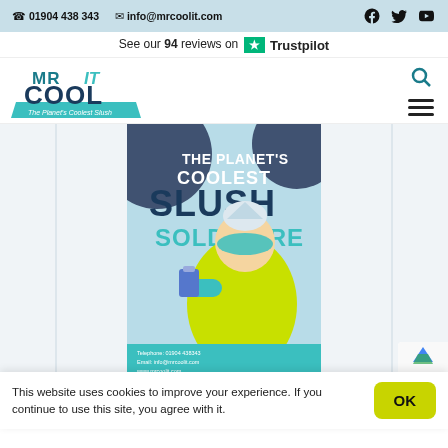📞 01904 438 343   ✉ info@mrcoolit.com   [Facebook] [Twitter] [YouTube]
See our 94 reviews on ★ Trustpilot
[Figure (logo): Mr Cool It logo - teal and dark blue text with slogan 'The Planet's Coolest Slush']
[Figure (photo): Mr Cool It promotional poster/banner showing cartoon superhero character holding a slush drink, with text 'THE PLANET'S COOLEST SLUSH SOLD HERE']
This website uses cookies to improve your experience. If you continue to use this site, you agree with it.